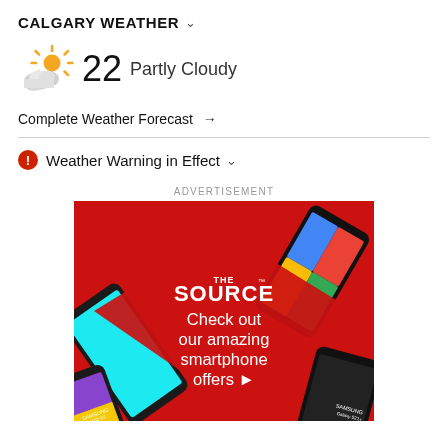CALGARY WEATHER ∨
[Figure (illustration): Partly cloudy weather icon with sun and cloud, temperature 22, description Partly Cloudy]
Complete Weather Forecast →
⚠ Weather Warning in Effect ∨
ADVERTISEMENT
[Figure (photo): The Source advertisement: smartphones arranged around a red diamond background with text 'THE SOURCE - Check out our amazing smartphone offers ▶']